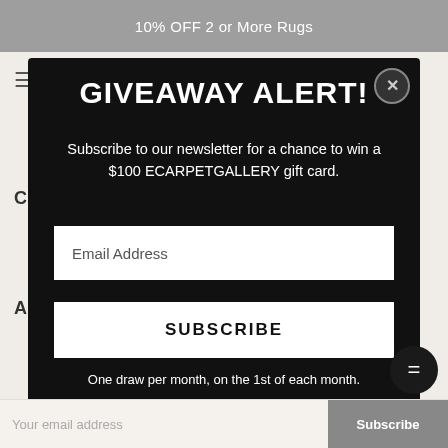10% OFF 2 or More Rugs
GIVEAWAY ALERT!
Subscribe to our newsletter for a chance to win a $100 ECARPETGALLERY gift card.
Email Address
SUBSCRIBE
One draw per month, on the 1st of each month.
By subscribing, you agree to our Privacy Policy.
Your email address
Subscribe